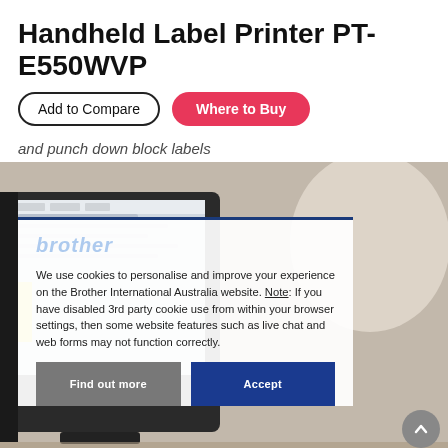Handheld Label Printer PT-E550WVP
Add to Compare
Where to Buy
and punch down block labels
[Figure (screenshot): Screenshot of a computer monitor displaying Brother software, with a cookie consent overlay dialog. The dialog shows text about cookie usage on the Brother International Australia website. It contains two buttons: 'Find out more' (dark grey) and 'Accept' (dark blue). A scroll-up arrow button appears in the lower right of the image.]